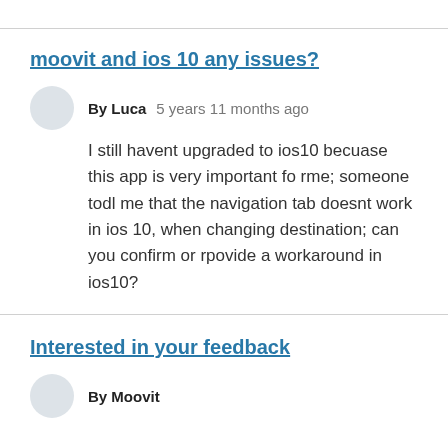moovit and ios 10 any issues?
By Luca   5 years 11 months ago
I still havent upgraded to ios10 becuase this app is very important fo rme; someone todl me that the navigation tab doesnt work in ios 10, when changing destination; can you confirm or rpovide a workaround in ios10?
Interested in your feedback
By Moovit...